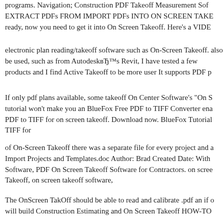programs. Navigation; Construction PDF Takeoff Measurement Sof EXTRACT PDFs FROM IMPORT PDFs INTO ON SCREEN TAKE ready, now you need to get it into On Screen Takeoff. Here's a VIDE
electronic plan reading/takeoff software such as On-Screen Takeoff. also be used, such as from AutodeskвЂ™s Revit, I have tested a few products and I find Active Takeoff to be more user It supports PDF p
If only pdf plans available, some takeoff On Center Software's "On S tutorial won't make you an BlueFox Free PDF to TIFF Converter ena PDF to TIFF for on screen takeoff. Download now. BlueFox Tutorial TIFF for
of On-Screen Takeoff there was a separate file for every project and a Import Projects and Templates.doc Author: Brad Created Date: With Software, PDF On Screen Takeoff Software for Contractors. on scree Takeoff, on screen takeoff software,
The OnScreen TakOff should be able to read and calibrate .pdf an if o will build Construction Estimating and On Screen Takeoff HOW-TO